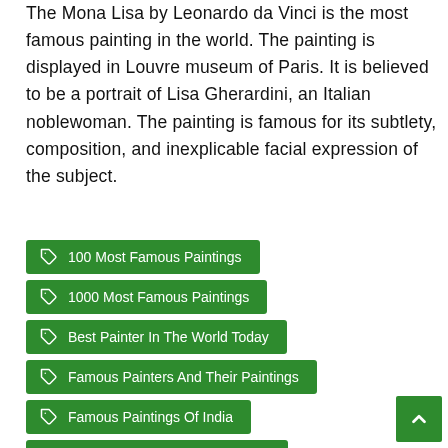The Mona Lisa by Leonardo da Vinci is the most famous painting in the world. The painting is displayed in Louvre museum of Paris. It is believed to be a portrait of Lisa Gherardini, an Italian noblewoman. The painting is famous for its subtlety, composition, and inexplicable facial expression of the subject.
100 Most Famous Paintings
1000 Most Famous Paintings
Best Painter In The World Today
Famous Painters And Their Paintings
Famous Paintings Of India
Famous Paintings With Meaning